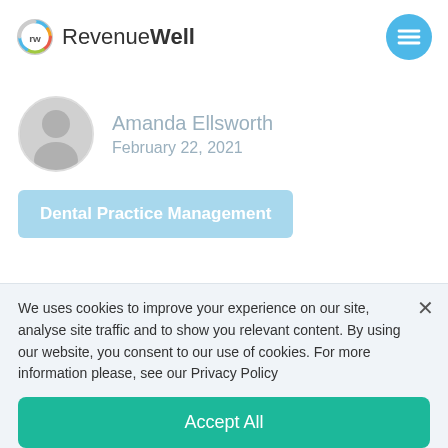[Figure (logo): RevenueWell logo with circular rw icon and text]
[Figure (illustration): Hamburger menu button - teal circle with three horizontal lines]
[Figure (photo): Circular profile photo of Amanda Ellsworth]
Amanda Ellsworth
February 22, 2021
Dental Practice Management
We uses cookies to improve your experience on our site, analyse site traffic and to show you relevant content. By using our website, you consent to our use of cookies. For more information please, see our Privacy Policy
Accept All